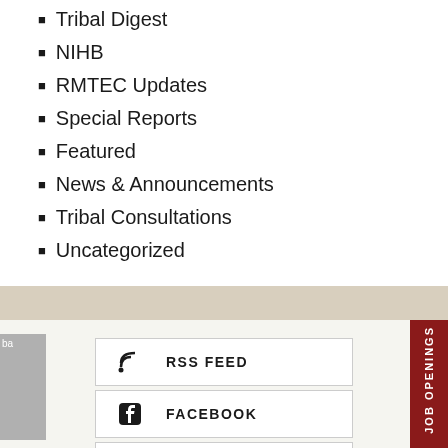Tribal Digest
NIHB
RMTEC Updates
Special Reports
Featured
News & Announcements
Tribal Consultations
Uncategorized
RSS FEED
FACEBOOK
TWITTER
JOB OPENINGS